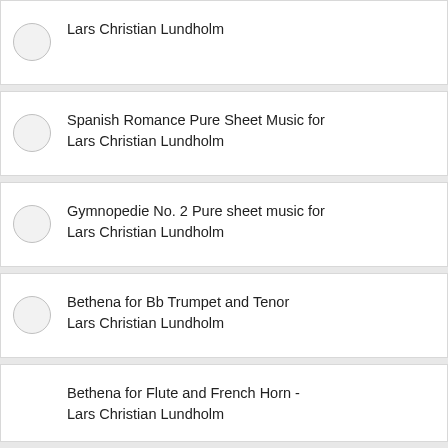Lars Christian Lundholm
Spanish Romance Pure Sheet Music for Lars Christian Lundholm
Gymnopedie No. 2 Pure sheet music for Lars Christian Lundholm
Bethena for Bb Trumpet and Tenor Lars Christian Lundholm
Bethena for Flute and French Horn - Lars Christian Lundholm